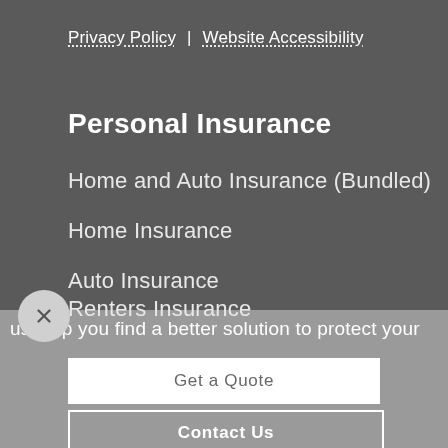Privacy Policy | Website Accessibility
Personal Insurance
Home and Auto Insurance (Bundled)
Home Insurance
Auto Insurance
Renters Insurance
us help you find a better solution to protect your
Get a Quote
Contact Us